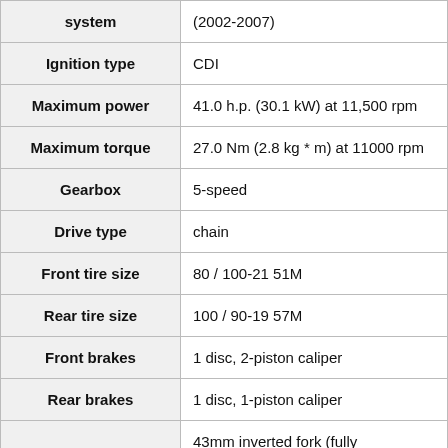| Attribute | Value |
| --- | --- |
| system | (2002-2007) |
| Ignition type | CDI |
| Maximum power | 41.0 h.p. (30.1 kW) at 11,500 rpm |
| Maximum torque | 27.0 Nm (2.8 kg * m) at 11000 rpm |
| Gearbox | 5-speed |
| Drive type | chain |
| Front tire size | 80 / 100-21 51M |
| Rear tire size | 100 / 90-19 57M |
| Front brakes | 1 disc, 2-piston caliper |
| Rear brakes | 1 disc, 1-piston caliper |
|  | 43mm inverted fork (fully adjustable), 282mm travel - CR125 (2000) |